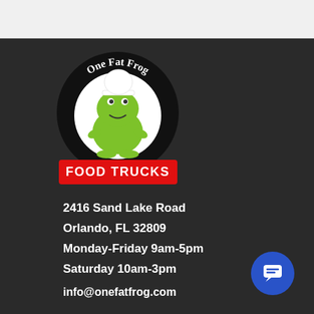[Figure (logo): One Fat Frog Food Trucks logo: circular black badge with white text 'One Fat Frog' arched at top, green cartoon frog wearing chef hat in center on white circle, red banner at bottom reading 'FOOD TRUCKS' in white bold text]
2416 Sand Lake Road
Orlando, FL 32809
Monday-Friday 9am-5pm
Saturday 10am-3pm
info@onefatfrog.com